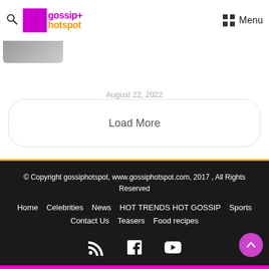gossip+ hotspot — Menu
Gomora's Gladys (Thembi Seete)
ets And Shows Off The
August 22, 2022
Load More
© Copyright gossiphotspot, www.gossiphotspot.com, 2017 , All Rights Reserved
Home
Celebrities
News
HOT TRENDS HOT GOSSIP
Sports
Contact Us
Teasers
Food recipes